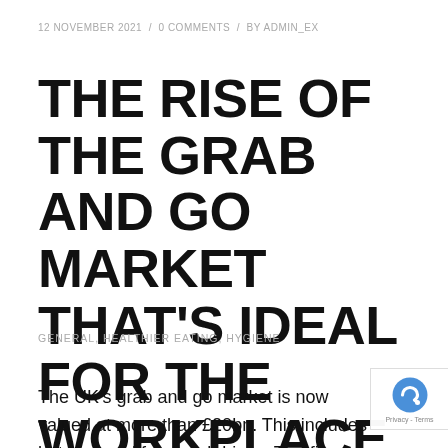12 NOVEMBER 2021 / 0 COMMENTS / BY ADMIN_EX
THE RISE OF THE GRAB AND GO MARKET THAT'S IDEAL FOR THE WORKPLACE.
GENERAL, HEALTHIER EATING, HYGIENE
The UK's grab and go market is now valued at more than £20bn. This includes hot and cold food and drinks. The figures show that more